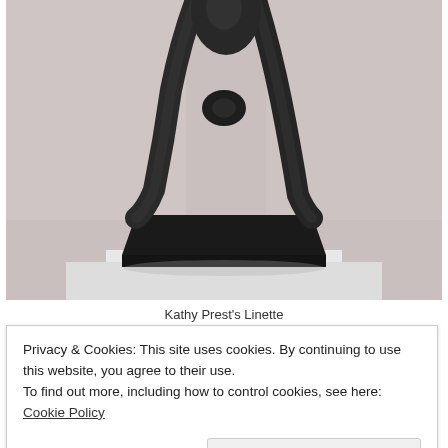[Figure (photo): Close-up photograph of a dark bronze sculpture of a human figure in motion, legs spread wide in a walking or striding pose, mounted on a rectangular black base, photographed against a light grey/white background.]
Kathy Prest's Linette
Privacy & Cookies: This site uses cookies. By continuing to use this website, you agree to their use.
To find out more, including how to control cookies, see here: Cookie Policy
Close and accept